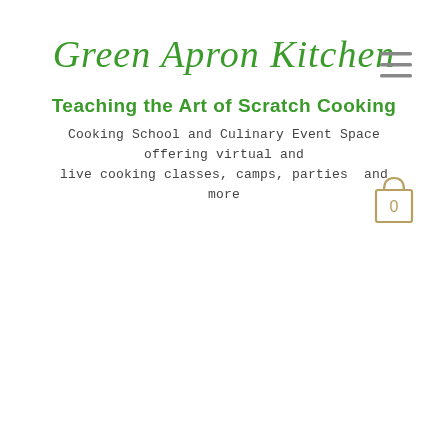Green Apron Kitchen
[Figure (other): Hamburger menu icon (three horizontal lines)]
Teaching the Art of Scratch Cooking
Cooking School and Culinary Event Space offering virtual and live cooking classes, camps, parties and more
[Figure (other): Shopping cart icon with number 0]